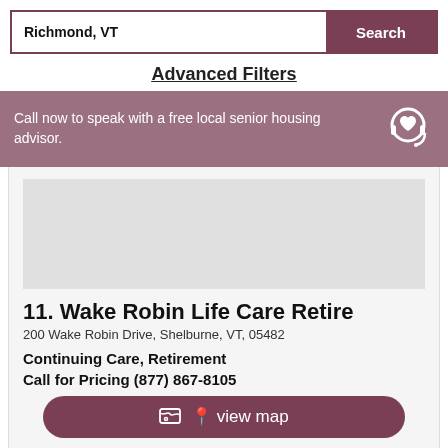Richmond, VT
Search
Advanced Filters
Call now to speak with a free local senior housing advisor.
11. Wake Robin Life Care Retire
200 Wake Robin Drive, Shelburne, VT, 05482
Continuing Care, Retirement
Call for Pricing (877) 867-8105
view map
View Details